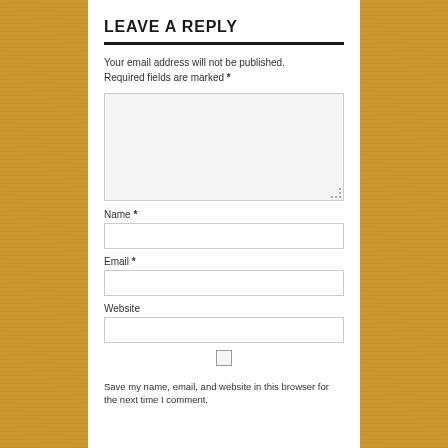LEAVE A REPLY
Your email address will not be published. Required fields are marked *
[Figure (other): Large comment text area input box with resize handle]
Name *
[Figure (other): Name input field]
Email *
[Figure (other): Email input field]
Website
[Figure (other): Website input field]
Save my name, email, and website in this browser for the next time I comment.